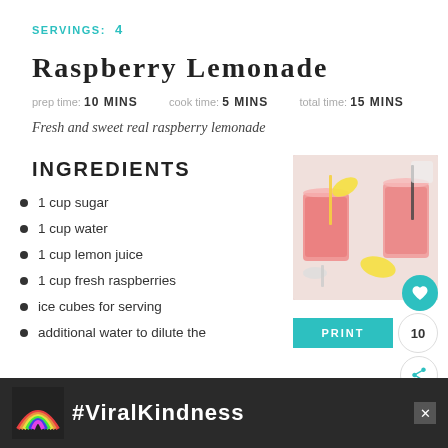SERVINGS: 4
Raspberry Lemonade
prep time: 10 MINS   cook time: 5 MINS   total time: 15 MINS
Fresh and sweet real raspberry lemonade
INGREDIENTS
1 cup sugar
1 cup water
1 cup lemon juice
1 cup fresh raspberries
ice cubes for serving
additional water to dilute the
[Figure (photo): Two mason jar glasses of pink raspberry lemonade with lemon wedges and straws, photographed from above on a white surface]
#ViralKindness